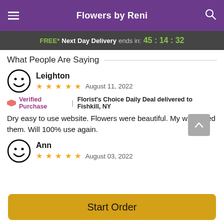Flowers by Reni
FREE* Next Day Delivery ends in: 45:14:32
What People Are Saying
Leighton
★★★★★  August 11, 2022
Verified Purchase | Florist's Choice Daily Deal delivered to Fishkill, NY
Dry easy to use website. Flowers were beautiful. My wife loved them. Will 100% use again.
Ann
★★★★★  August 03, 2022
Start Order